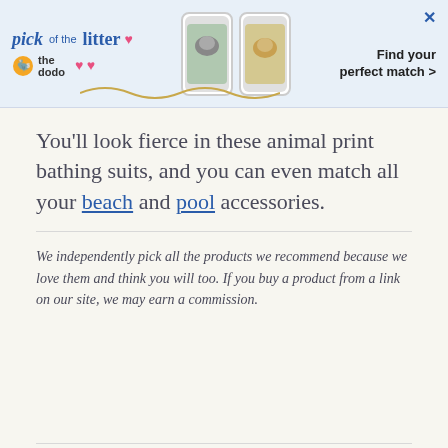[Figure (screenshot): Advertisement banner for 'pick of the litter' from The Dodo with pet photos and text 'Find your perfect match >']
You'll look fierce in these animal print bathing suits, and you can even match all your beach and pool accessories.
We independently pick all the products we recommend because we love them and think you will too. If you buy a product from a link on our site, we may earn a commission.